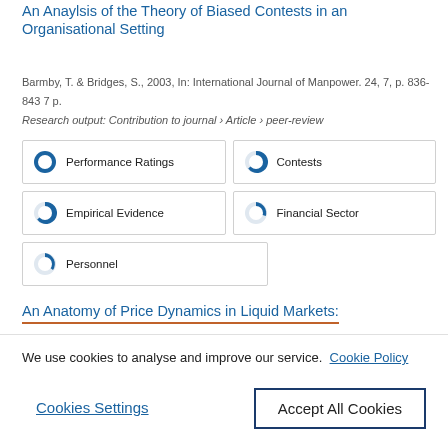An Anaylsis of the Theory of Biased Contests in an Organisational Setting
Barmby, T. & Bridges, S., 2003, In: International Journal of Manpower. 24, 7, p. 836-843 7 p.
Research output: Contribution to journal › Article › peer-review
Performance Ratings
Contests
Empirical Evidence
Financial Sector
Personnel
An Anatomy of Price Dynamics in Liquid Markets:
We use cookies to analyse and improve our service.  Cookie Policy
Cookies Settings
Accept All Cookies